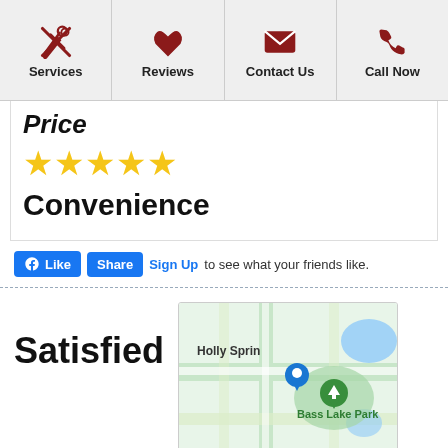Services | Reviews | Contact Us | Call Now
Price
[Figure (other): Five yellow star rating icons]
Convenience
[Figure (other): Facebook Like and Share buttons with Sign Up link and text 'to see what your friends like.']
Satisfied
[Figure (map): Google Maps showing Holly Springs area with a blue location pin and Bass Lake Park marker with tree icon. Map data ©2022.]